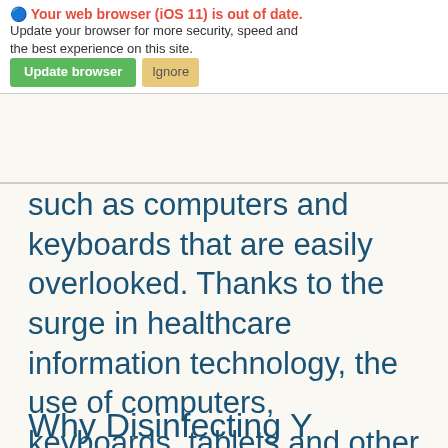[Figure (screenshot): Browser update warning overlay with 'Update browser' (green button) and 'Ignore' (yellow/tan button), appearing over ghosted background text about clothing or equipment used within healthcare facilities including basic tools and technology.]
such as computers and keyboards that are easily overlooked. Thanks to the surge in healthcare information technology, the use of computers, keyboards, tablets and other electronic devices has become commonplace in all healthcare facilities. That's not going to change anytime soon.
Why Disinfecting Y